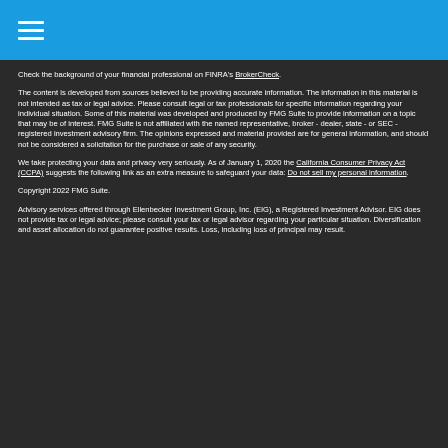Check the background of your financial professional on FINRA's BrokerCheck.
The content is developed from sources believed to be providing accurate information. The information in this material is not intended as tax or legal advice. Please consult legal or tax professionals for specific information regarding your individual situation. Some of this material was developed and produced by FMG Suite to provide information on a topic that may be of interest. FMG Suite is not affiliated with the named representative, broker - dealer, state - or SEC - registered investment advisory firm. The opinions expressed and material provided are for general information, and should not be considered a solicitation for the purchase or sale of any security.
We take protecting your data and privacy very seriously. As of January 1, 2020 the California Consumer Privacy Act (CCPA) suggests the following link as an extra measure to safeguard your data: Do not sell my personal information.
Copyright 2022 FMG Suite.
Advisory services offered through Ellenbecker Investment Group, Inc. (EIG), a Registered Investment Advisor. EIG does not provide tax or legal advice; please consult your tax or legal advisor regarding your particular situation. Diversification and asset allocation do not guarantee positive results. Loss, including loss of principal may result.